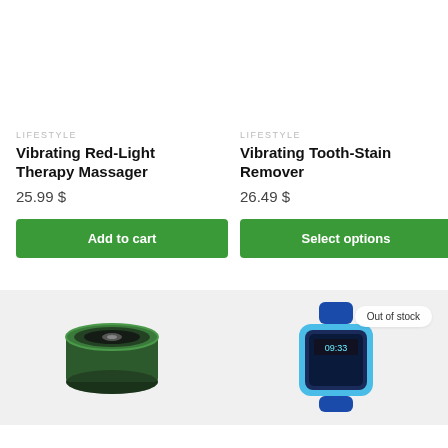LIFESTYLE
Vibrating Red-Light Therapy Massager
25.99 $
Add to cart
LIFESTYLE
Vibrating Tooth-Stain Remover
26.49 $
Select options
[Figure (photo): Green portable Bluetooth speaker, cylindrical shape with black grill]
[Figure (photo): Blue children's smartwatch with screen showing digital display, with Out of stock badge]